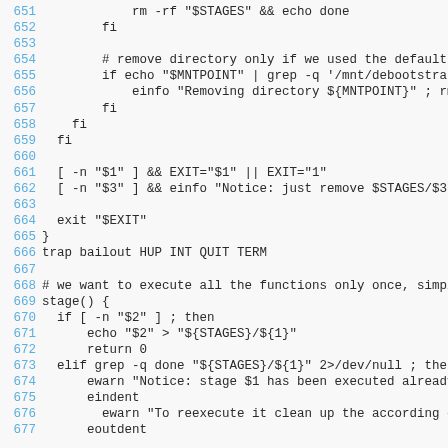Code listing lines 651–677, shell script (bailout function and stage function)